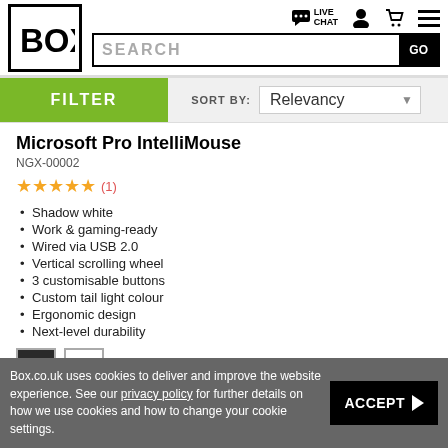[Figure (logo): BOX logo in black square border]
[Figure (infographic): Live Chat icon, user icon, cart icon, hamburger menu icon]
SEARCH
FILTER
SORT BY: Relevancy
Microsoft Pro IntelliMouse
NGX-00002
★★★★★ (1)
Shadow white
Work & gaming-ready
Wired via USB 2.0
Vertical scrolling wheel
3 customisable buttons
Custom tail light colour
Ergonomic design
Next-level durability
[Figure (illustration): Two colour swatches: dark (black/charcoal) and light (white)]
Box.co.uk uses cookies to deliver and improve the website experience. See our privacy policy for further details on how we use cookies and how to change your cookie settings.
ACCEPT ▶